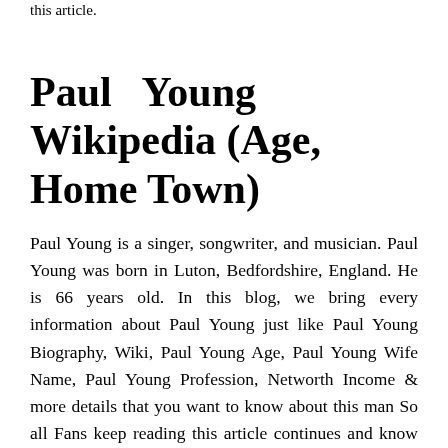this article.
Paul Young Wikipedia (Age, Home Town)
Paul Young is a singer, songwriter, and musician. Paul Young was born in Luton, Bedfordshire, England. He is 66 years old. In this blog, we bring every information about Paul Young just like Paul Young Biography, Wiki, Paul Young Age, Paul Young Wife Name, Paul Young Profession, Networth Income & more details that you want to know about this man So all Fans keep reading this article continues and know all details about Paul